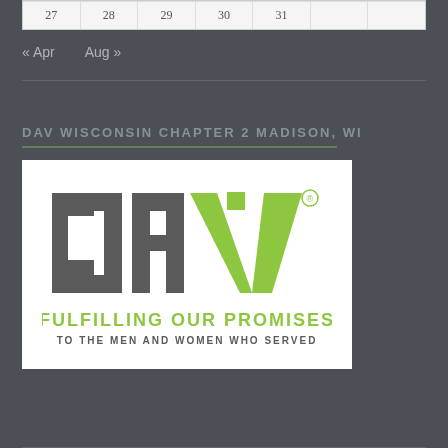| 27 | 28 | 29 | 30 | 31 |  |  |
| --- | --- | --- | --- | --- | --- | --- |
|  |
« Apr   Aug »
DAV WISCONSIN CHAPTER 2 MADISON, WI
[Figure (logo): DAV logo with text FULFILLING OUR PROMISES / TO THE MEN AND WOMEN WHO SERVED]